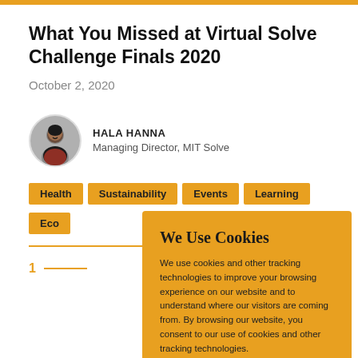What You Missed at Virtual Solve Challenge Finals 2020
October 2, 2020
[Figure (photo): Circular headshot photo of Hala Hanna]
HALA HANNA
Managing Director, MIT Solve
Health
Sustainability
Events
Learning
Eco
1
We Use Cookies
We use cookies and other tracking technologies to improve your browsing experience on our website and to understand where our visitors are coming from. By browsing our website, you consent to our use of cookies and other tracking technologies.
ACCEPT
REJECT